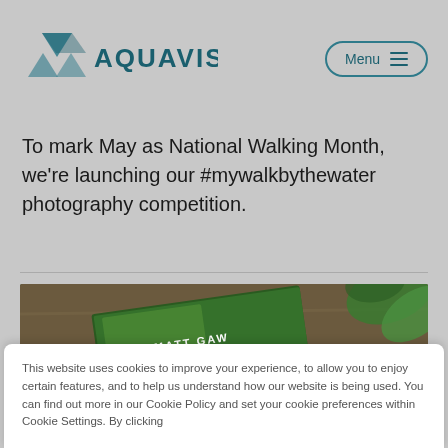[Figure (logo): Aquavista logo with mountain/wave triangle icon and AQUAVISTA text in teal]
To mark May as National Walking Month, we're launching our #mywalkbythewater photography competition.
[Figure (photo): Photo of 'The Pull of the River' by Matt Gaw book lying on a wooden surface next to a cup of tea and green plant leaves]
This website uses cookies to improve your experience, to allow you to enjoy certain features, and to help us understand how our website is being used. You can find out more in our Cookie Policy and set your cookie preferences within Cookie Settings. By clicking